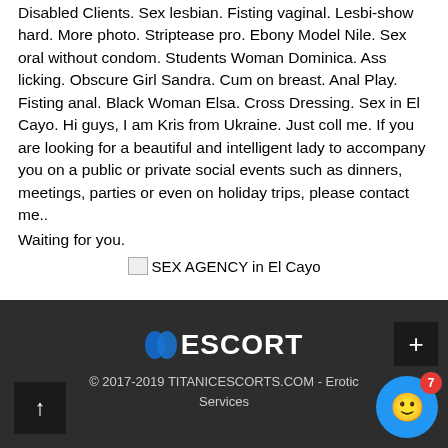Disabled Clients. Sex lesbian. Fisting vaginal. Lesbi-show hard. More photo. Striptease pro. Ebony Model Nile. Sex oral without condom. Students Woman Dominica. Ass licking. Obscure Girl Sandra. Cum on breast. Anal Play. Fisting anal. Black Woman Elsa. Cross Dressing. Sex in El Cayo. Hi guys, I am Kris from Ukraine. Just coll me. If you are looking for a beautiful and intelligent lady to accompany you on a public or private social events such as dinners, meetings, parties or even on holiday trips, please contact me.. Waiting for you.
[Figure (other): Broken image placeholder with text 'SEX AGENCY in El Cayo']
ESCORT © 2017-2019 TITANICESCORTS.COM - Erotic Services